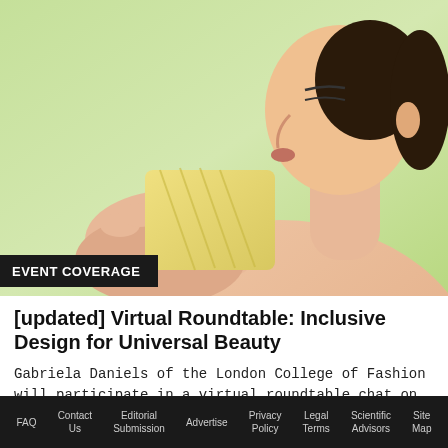[Figure (photo): A woman in profile holding a cream/yellow beauty product up to her face against a soft green background]
EVENT COVERAGE
[updated] Virtual Roundtable: Inclusive Design for Universal Beauty
Gabriela Daniels of the London College of Fashion will participate in a virtual roundtable chat on inclusive design for universal beauty…
FAQ  Contact Us  Editorial Submission  Advertise  Privacy Policy  Legal Terms  Scientific Advisors  Site Map